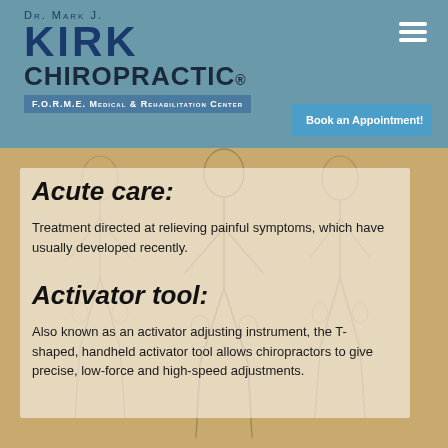[Figure (illustration): Dr. Mark J. Kirk Chiropractic logo with stylized figure and F.O.R.M.E. Medical & Rehabilitation Center banner]
[Figure (illustration): Hamburger menu icon (three horizontal white lines) in top right corner]
[Figure (illustration): Book an Appointment! button in blue]
Acute care:
Treatment directed at relieving painful symptoms, which have usually developed recently.
Activator tool:
Also known as an activator adjusting instrument, the T-shaped, handheld activator tool allows chiropractors to give precise, low-force and high-speed adjustments.
[Figure (illustration): Anatomical sketch of human figures showing musculature and skeletal structure as background image]